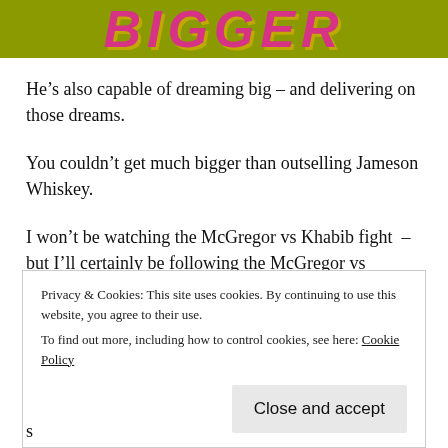[Figure (illustration): Yellow/olive green banner with pink bold italic text reading 'BIGGER' in large stylized letters]
He's also capable of dreaming big – and delivering on those dreams.
You couldn't get much bigger than outselling Jameson Whiskey.
I won't be watching the McGregor vs Khabib fight – but I'll certainly be following the McGregor vs Jameson clash – and despite all the odds – I hope he succeeds.
Privacy & Cookies: This site uses cookies. By continuing to use this website, you agree to their use.
To find out more, including how to control cookies, see here: Cookie Policy
Close and accept